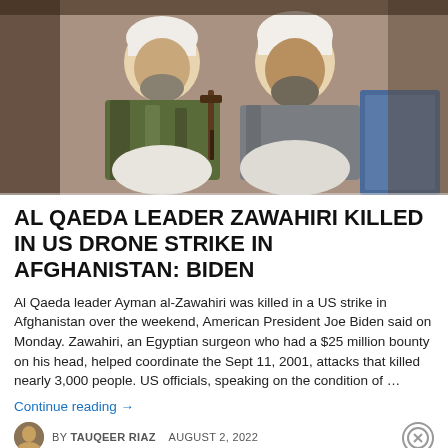[Figure (photo): Two men seated side by side inside a tent-like setting, one wearing camouflage jacket and white turban, the other in grey robe and white turban; a firearm is visible between them.]
AL QAEDA LEADER ZAWAHIRI KILLED IN US DRONE STRIKE IN AFGHANISTAN: BIDEN
Al Qaeda leader Ayman al-Zawahiri was killed in a US strike in Afghanistan over the weekend, American President Joe Biden said on Monday. Zawahiri, an Egyptian surgeon who had a $25 million bounty on his head, helped coordinate the Sept 11, 2001, attacks that killed nearly 3,000 people. US officials, speaking on the condition of …
Continue reading →
BY TAUQEER RIAZ   AUGUST 2, 2022
Advertisements
[Figure (screenshot): DuckDuckGo advertisement banner: orange background with text 'Search, browse, and email with more privacy. All in One Free App' on the left, DuckDuckGo logo on dark right panel.]